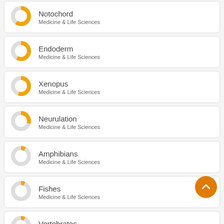Notochord — Medicine & Life Sciences
Endoderm — Medicine & Life Sciences
Xenopus — Medicine & Life Sciences
Neurulation — Medicine & Life Sciences
Amphibians — Medicine & Life Sciences
Fishes — Medicine & Life Sciences
Vertebrates — Medicine & Life Sciences
[Figure (other): Orange scroll-to-top floating action button]